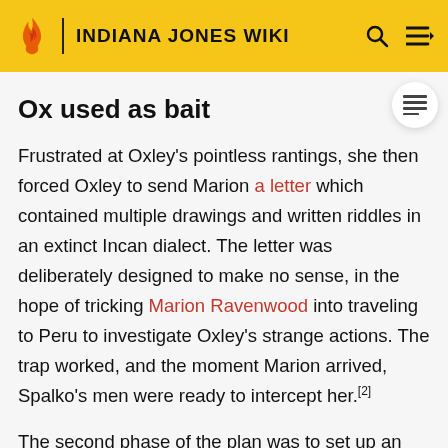INDIANA JONES WIKI
Ox used as bait
Frustrated at Oxley's pointless rantings, she then forced Oxley to send Marion a letter which contained multiple drawings and written riddles in an extinct Incan dialect. The letter was deliberately designed to make no sense, in the hope of tricking Marion Ravenwood into traveling to Peru to investigate Oxley's strange actions. The trap worked, and the moment Marion arrived, Spalko's men were ready to intercept her.[2]
The second phase of the plan was to set up an opportunity for Ravenwood to temporarily escape and make quick contact with her son. Spalko knew that